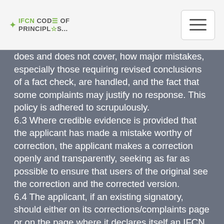IFCN CODE OF PRINCIPLES
does and does not cover, how major mistakes, especially those requiring revised conclusions of a fact check, are handled, and the fact that some complaints may justify no response. This policy is adhered to scrupulously.
6.3 Where credible evidence is provided that the applicant has made a mistake worthy of correction, the applicant makes a correction openly and transparently, seeking as far as possible to ensure that users of the original see the correction and the corrected version.
6.4 The applicant, if an existing signatory, should either on its corrections/complaints page or on the page where it declares itself an IFCN signatory inform users that if they believe the signatory is violating the IFCN Code, they may inform the IFCN, with a link to the IFCN site.
6.5 If the applicant is the fact-checking unit of a media company, it is a requirement of signatory status that the parent media company has and adheres to an open and honest corrections policy